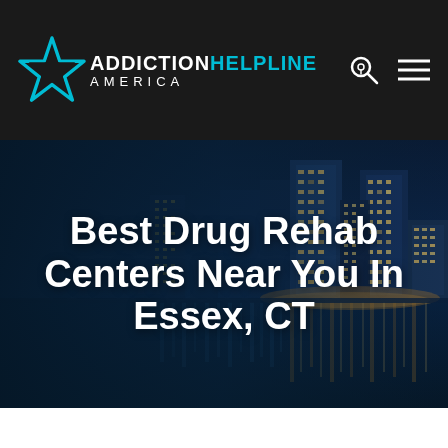ADDICTION HELPLINE AMERICA
[Figure (photo): Night cityscape of a lit urban waterfront with tall buildings reflected in the water, serving as a hero background image for a drug rehab center directory page for Essex, CT.]
Best Drug Rehab Centers Near You In Essex, CT